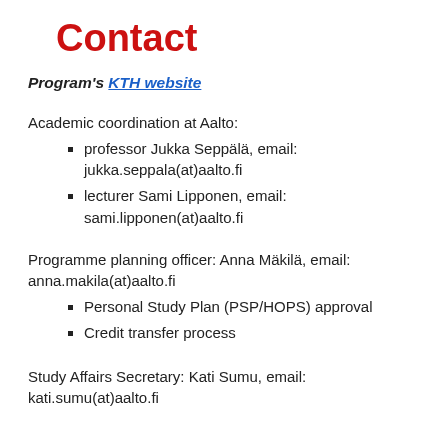Contact
Program's KTH website
Academic coordination at Aalto:
professor Jukka Seppälä, email: jukka.seppala(at)aalto.fi
lecturer Sami Lipponen, email: sami.lipponen(at)aalto.fi
Programme planning officer: Anna Mäkilä, email: anna.makila(at)aalto.fi
Personal Study Plan (PSP/HOPS) approval
Credit transfer process
Study Affairs Secretary: Kati Sumu, email: kati.sumu(at)aalto.fi